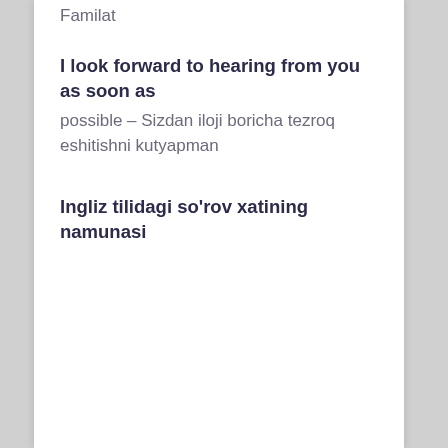Familat
I look forward to hearing from you as soon as possible – Sizdan iloji boricha tezroq eshitishni kutyapman
Ingliz tilidagi so’rov xatining namunasi